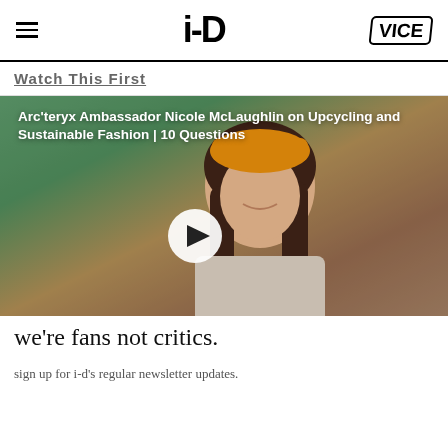i-D | VICE
Watch This First
[Figure (screenshot): Video thumbnail showing Nicole McLaughlin smiling in front of a wall of colorful tools and craft supplies, wearing an orange beanie and light jacket. A white circular play button is centered on the image.]
Arc'teryx Ambassador Nicole McLaughlin on Upcycling and Sustainable Fashion | 10 Questions
we're fans not critics.
sign up for i-d's regular newsletter updates.